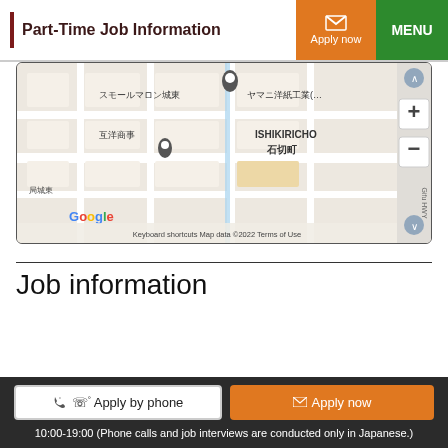Part-Time Job Information
[Figure (map): Google Map showing area around ISHIKIRICHO / 石切町, with landmarks スモールマロン城東, 互洋商事, ヤマニ洋紙工業, 局城東. Map data ©2022. Keyboard shortcuts. Terms of Use.]
Job information
Apply by phone
Apply now
10:00-19:00 (Phone calls and job interviews are conducted only in Japanese.)